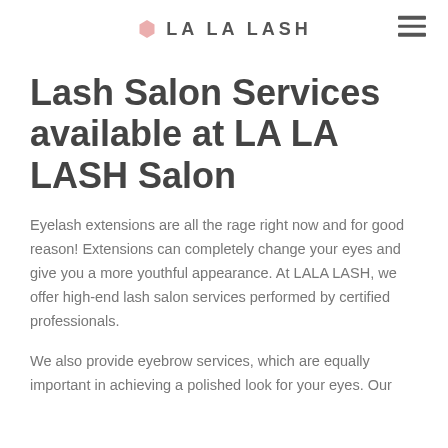LA LA LASH
Lash Salon Services available at LA LA LASH Salon
Eyelash extensions are all the rage right now and for good reason! Extensions can completely change your eyes and give you a more youthful appearance. At LALA LASH, we offer high-end lash salon services performed by certified professionals.
We also provide eyebrow services, which are equally important in achieving a polished look for your eyes. Our